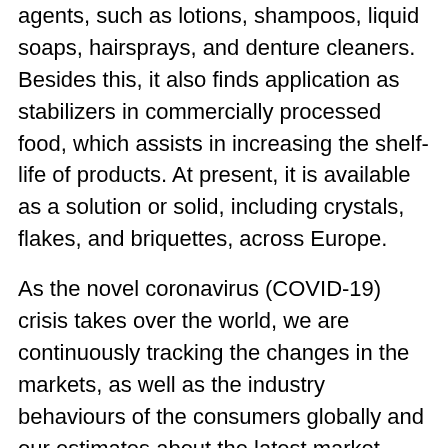agents, such as lotions, shampoos, liquid soaps, hairsprays, and denture cleaners. Besides this, it also finds application as stabilizers in commercially processed food, which assists in increasing the shelf-life of products. At present, it is available as a solution or solid, including crystals, flakes, and briquettes, across Europe.
As the novel coronavirus (COVID-19) crisis takes over the world, we are continuously tracking the changes in the markets, as well as the industry behaviours of the consumers globally and our estimates about the latest market trends and forecasts are being done after considering the impact of this pandemic.
Europe Caustic Potash Market Trends:
The expanding application of caustic potash in numerous end use industries, such as paper, agriculture, and petroleum, represents one of the key factors strengthening the growth of the market in Europe. The increasing